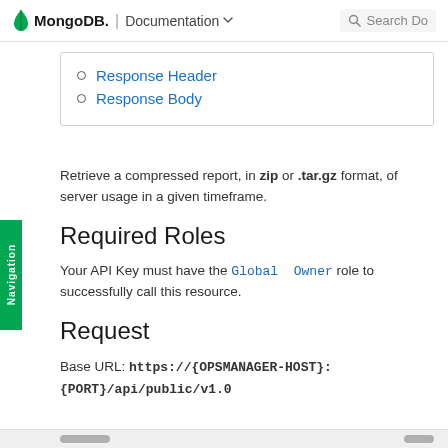MongoDB. | Documentation  Search Do
Response Header
Response Body
Retrieve a compressed report, in zip or .tar.gz format, of server usage in a given timeframe.
Required Roles
Your API Key must have the Global Owner role to successfully call this resource.
Request
Base URL: https://{OPSMANAGER-HOST}:{PORT}/api/public/v1.0